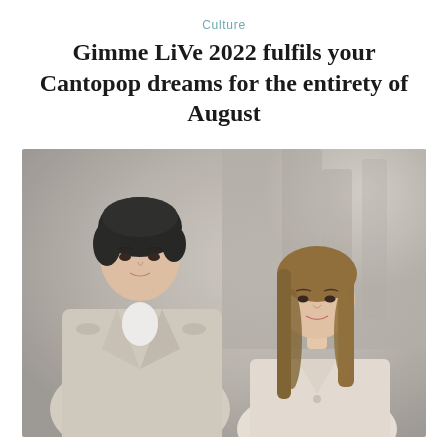Culture
Gimme LiVe 2022 fulfils your Cantopop dreams for the entirety of August
[Figure (photo): Two young Asian individuals standing outdoors. On the left, a young man with dark short hair wearing a beige trench coat over a white shirt, looking upward/away. On the right, a young woman with long light-brown hair wearing a beige outfit, looking slightly to the side. The background is blurred, showing muted grey-green tones suggesting an outdoor setting.]